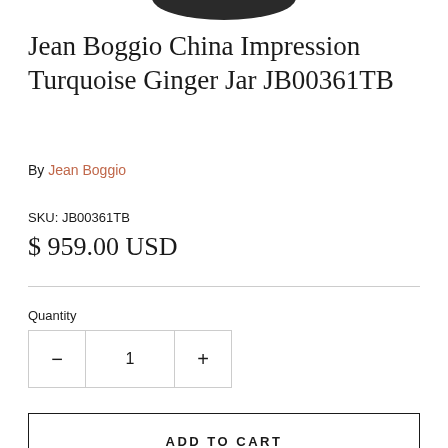[Figure (photo): Partial view of a decorative ginger jar at the top of the page, cropped.]
Jean Boggio China Impression Turquoise Ginger Jar JB00361TB
By Jean Boggio
SKU: JB00361TB
$ 959.00 USD
Quantity
ADD TO CART